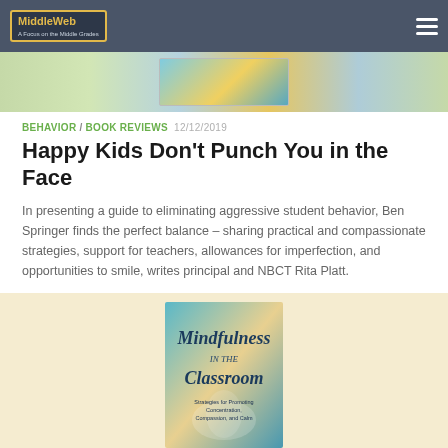MiddleWeb
[Figure (photo): Top banner image strip with book cover thumbnail]
BEHAVIOR / BOOK REVIEWS  12/12/2019
Happy Kids Don't Punch You in the Face
In presenting a guide to eliminating aggressive student behavior, Ben Springer finds the perfect balance – sharing practical and compassionate strategies, support for teachers, allowances for imperfection, and opportunities to smile, writes principal and NBCT Rita Platt.
[Figure (photo): Book cover: Mindfulness in the Classroom – Strategies for Promoting Concentration, Compassion, and Calm]